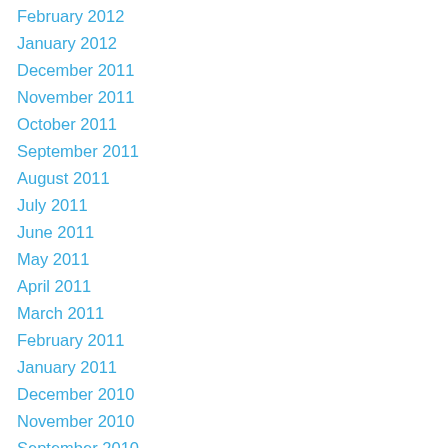February 2012
January 2012
December 2011
November 2011
October 2011
September 2011
August 2011
July 2011
June 2011
May 2011
April 2011
March 2011
February 2011
January 2011
December 2010
November 2010
September 2010
August 2010
July 2010
June 2010